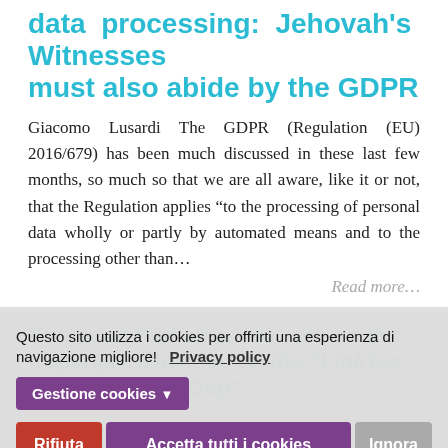data processing: Jehovah's Witnesses must also abide by the GDPR
Giacomo Lusardi The GDPR (Regulation (EU) 2016/679) has been much discussed in these last few months, so much so that we are all aware, like it or not, that the Regulation applies “to the processing of personal data wholly or partly by automated means and to the processing other than…
Read more…
European Parliament to vote on the Copyright Directive on the “LinkTax” and the “Value Gap”
Elisabetta Mina Following adoption by the JURI Committee (Legal Affairs) of the European Parlia...
Questo sito utilizza i cookies per offrirti una esperienza di navigazione migliore!  Privacy policy
Gestione cookies ▼
Rifiuta
Accetta tutti i cookies
Ignora